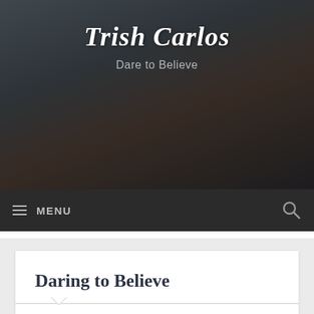[Figure (photo): Hero header image of a person with long hair partially obscured, dark moody lighting, with overlaid blog site title and tagline]
Trish Carlos
Dare to Believe
≡ MENU
Daring to Believe